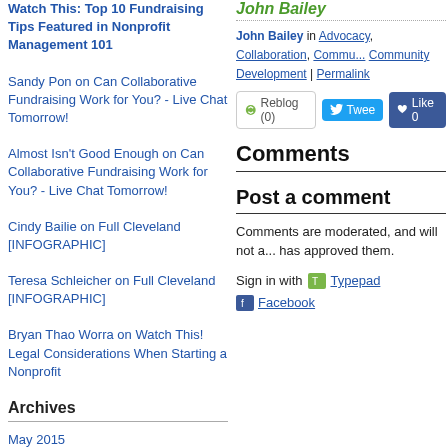Watch This: Top 10 Fundraising Tips Featured in Nonprofit Management 101
Sandy Pon on Can Collaborative Fundraising Work for You? - Live Chat Tomorrow!
Almost Isn't Good Enough on Can Collaborative Fundraising Work for You? - Live Chat Tomorrow!
Cindy Bailie on Full Cleveland [INFOGRAPHIC]
Teresa Schleicher on Full Cleveland [INFOGRAPHIC]
Bryan Thao Worra on Watch This! Legal Considerations When Starting a Nonprofit
Archives
May 2015
April 2015
March 2015
February 2015
John Bailey
John Bailey in Advocacy, Collaboration, Community Development | Permalink
Comments
Post a comment
Comments are moderated, and will not appear until the author has approved them.
Sign in with Typepad Facebook